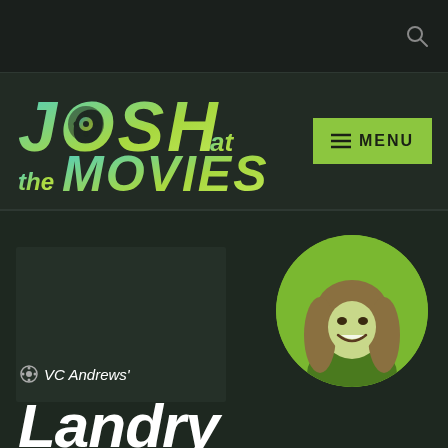[Figure (screenshot): Top dark navigation bar with a search icon on the right]
JOSH at the MOVIES
[Figure (logo): Josh at the Movies logo — gradient teal to lime stylized text with film reel in the O and ladder in the H]
[Figure (other): Green menu button with hamburger icon and MENU text]
[Figure (photo): Circular cropped portrait of a smiling young woman with long wavy blonde hair, tinted green/monochrome]
VC Andrews'
Landry